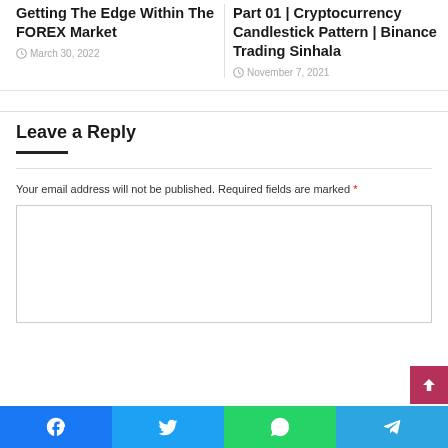Getting The Edge Within The FOREX Market
March 30, 2022
Part 01 | Cryptocurrency Candlestick Pattern | Binance Trading Sinhala
November 7, 2021
Leave a Reply
Your email address will not be published. Required fields are marked *